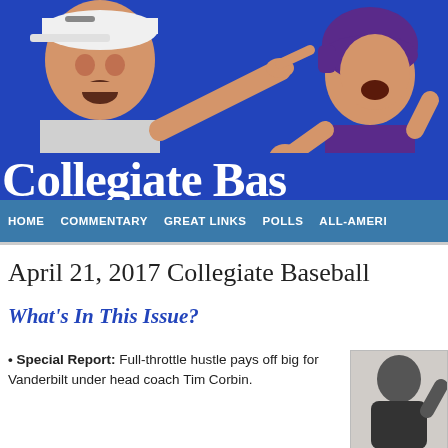[Figure (photo): Header banner for Collegiate Baseball website showing a coach pointing on the left and a player celebrating on the right, on a blue background with the text 'Collegiate Bas' visible]
HOME   COMMENTARY   GREAT LINKS   POLLS   ALL-AMERI
April 21, 2017 Collegiate Baseball
What's In This Issue?
• Special Report: Full-throttle hustle pays off big for Vanderbilt under head coach Tim Corbin.
[Figure (photo): Thumbnail photo of a baseball player or coach]